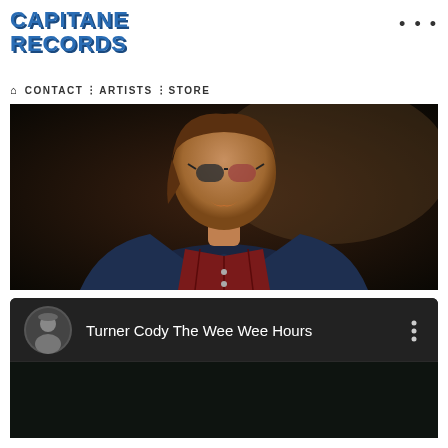CAPITANE RECORDS
🏠 CONTACT : ARTISTS : STORE
[Figure (photo): Photo of a person wearing sunglasses and a denim jacket over a plaid shirt, face partially lit against a dark background]
[Figure (screenshot): YouTube-style music player showing 'Turner Cody The Wee Wee Hours' with a circular avatar thumbnail and three-dot menu icon, on a dark background]